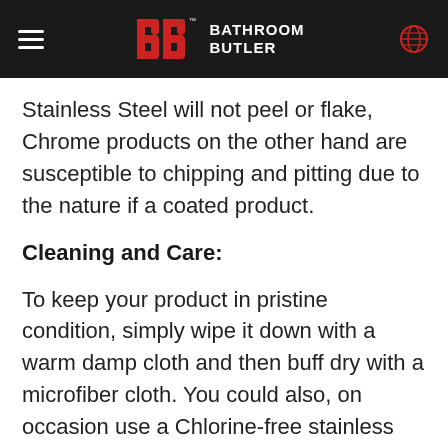BATHROOM BUTLER
Stainless Steel will not peel or flake, Chrome products on the other hand are susceptible to chipping and pitting due to the nature if a coated product.
Cleaning and Care:
To keep your product in pristine condition, simply wipe it down with a warm damp cloth and then buff dry with a microfiber cloth. You could also, on occasion use a Chlorine-free stainless steel cleaner to maintain